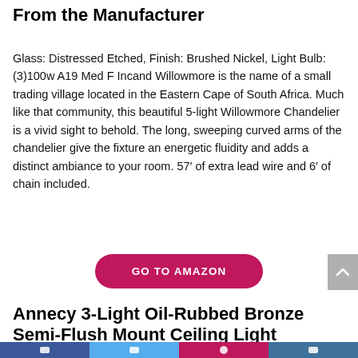From the Manufacturer
Glass: Distressed Etched, Finish: Brushed Nickel, Light Bulb: (3)100w A19 Med F Incand Willowmore is the name of a small trading village located in the Eastern Cape of South Africa. Much like that community, this beautiful 5-light Willowmore Chandelier is a vivid sight to behold. The long, sweeping curved arms of the chandelier give the fixture an energetic fluidity and adds a distinct ambiance to your room. 57′ of extra lead wire and 6′ of chain included.
[Figure (other): GO TO AMAZON button — a pink/crimson rounded pill-shaped button with white uppercase bold text]
Annecy 3-Light Oil-Rubbed Bronze Semi-Flush Mount Ceiling Light
Social share bar with Facebook, Twitter, Pinterest, and other icons